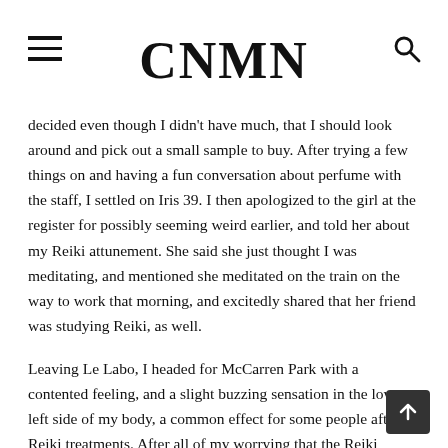CNMN
decided even though I didn't have much, that I should look around and pick out a small sample to buy. After trying a few things on and having a fun conversation about perfume with the staff, I settled on Iris 39. I then apologized to the girl at the register for possibly seeming weird earlier, and told her about my Reiki attunement. She said she just thought I was meditating, and mentioned she meditated on the train on the way to work that morning, and excitedly shared that her friend was studying Reiki, as well.
Leaving Le Labo, I headed for McCarren Park with a contented feeling, and a slight buzzing sensation in the lower left side of my body, a common effect for some people after Reiki treatments. After all of my worrying that the Reiki attunement I'd envisioned in my mind would be ruined, I realized I had just had the most perfect experience I